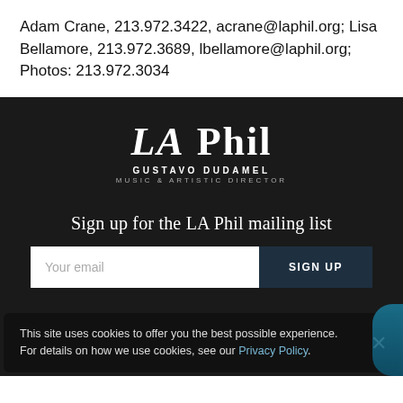Adam Crane, 213.972.3422, acrane@laphil.org; Lisa Bellamore, 213.972.3689, lbellamore@laphil.org; Photos: 213.972.3034
[Figure (logo): LA Phil logo with text 'GUSTAVO DUDAMEL MUSIC & ARTISTIC DIRECTOR' on dark background]
Sign up for the LA Phil mailing list
Your email
SIGN UP
This site uses cookies to offer you the best possible experience. For details on how we use cookies, see our Privacy Policy.